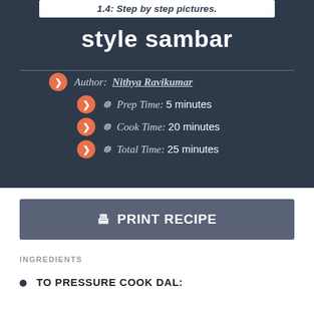1.4: Step by step pictures.
style sambar
Author: Nithya Ravikumar
Prep Time: 5 minutes
Cook Time: 20 minutes
Total Time: 25 minutes
PRINT RECIPE
INGREDIENTS
TO PRESSURE COOK DAL: